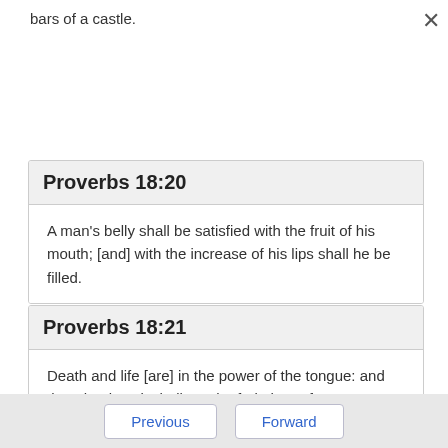bars of a castle.
Proverbs 18:20
A man's belly shall be satisfied with the fruit of his mouth; [and] with the increase of his lips shall he be filled.
Proverbs 18:21
Death and life [are] in the power of the tongue: and they that love it shall eat the fruit thereof.
Previous   Forward